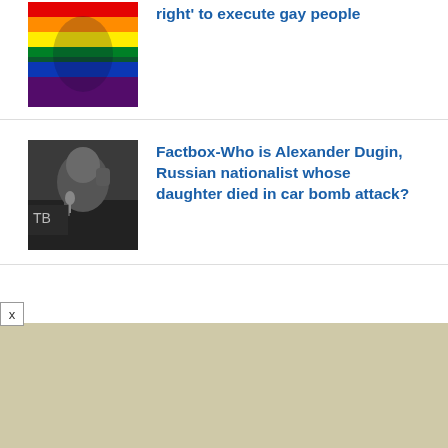[Figure (photo): Rainbow pride flag being held up]
right' to execute gay people
[Figure (photo): Man speaking at a microphone with raised fist]
Factbox-Who is Alexander Dugin, Russian nationalist whose daughter died in car bomb attack?
GOOD TRASH: GOING TO READ IT SOMEWHERE, Y'KNOW
Ben Affleck and Jennifer Lopez